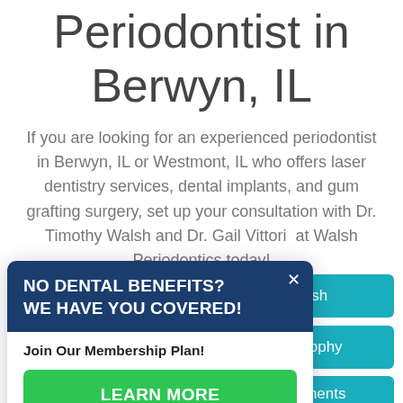Periodontist in Berwyn, IL
If you are looking for an experienced periodontist in Berwyn, IL or Westmont, IL who offers laser dentistry services, dental implants, and gum grafting surgery, set up your consultation with Dr. Timothy Walsh and Dr. Gail Vittori  at Walsh Periodontics today!
[Figure (screenshot): A popup modal with dark navy header reading 'NO DENTAL BENEFITS? WE HAVE YOU COVERED!' with a close X button, and a white body section with text 'Join Our Membership Plan!' and a green 'LEARN MORE' button. Behind it are teal call-to-action buttons partially visible: one mentioning 'othy Walsh', one saying 'Our Philosophy', and one saying 'Appointments'.]